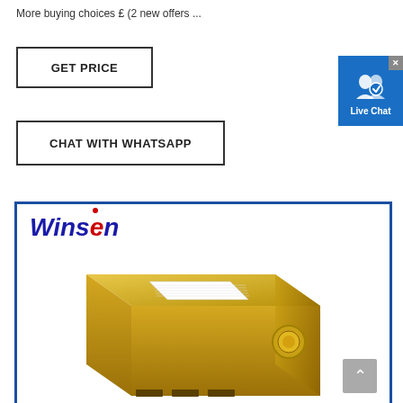More buying choices £ (2 new offers ...
GET PRICE
[Figure (screenshot): Live Chat button widget - blue background with white user/chat icon and 'Live Chat' text label, with an X close button in the top right corner]
CHAT WITH WHATSAPP
[Figure (photo): Product image of a Winsen gold-colored sensor module. The image shows a compact rectangular metallic gold device with a white label grid on top and a circular port on the side. Winsen logo appears in blue italic text in the top left of the image frame, which has a blue border.]